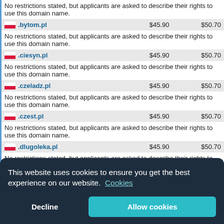| Domain | Register | Renew |
| --- | --- | --- |
| .bytom.pl | $45.90 | $50.70 |
| No restrictions stated, but applicants are asked to describe their rights to use this domain name. |  |  |
| .ciesyn.pl | $45.90 | $50.70 |
| No restrictions stated, but applicants are asked to describe their rights to use this domain name. |  |  |
| .czeladz.pl | $45.90 | $50.70 |
| No restrictions stated, but applicants are asked to describe their rights to use this domain name. |  |  |
| .czest.pl | $45.90 | $50.70 |
| No restrictions stated, but applicants are asked to describe their rights to use this domain name. |  |  |
| .dlugoleka.pl | $45.90 | $50.70 |
| No restrictions stated, but applicants are asked to describe their rights to use this domain name. |  |  |
| .glogow.pl | $45.90 | $50.70 |
This website uses cookies to ensure you get the best experience on our website. Cookies
Decline
Allow cookies